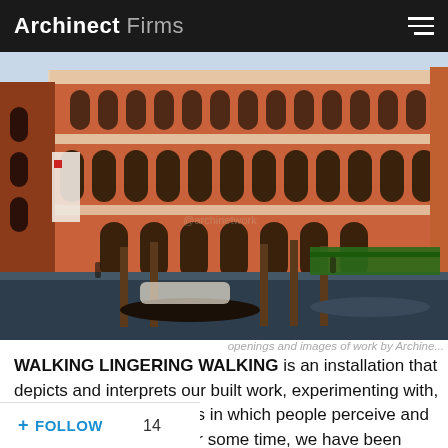Archinect Firms
[Figure (photo): Photograph of a historic Venetian Gothic building (red/orange facade) along a canal in Venice, with gondolas and boats moored at wooden poles in the foreground, green-canopied outdoor area to the right, people visible at street level.]
openings and images of work by Archine...
WALKING LINGERING WALKING is an installation that depicts and interprets our built work, experimenting with, and challenging the ways in which people perceive and move through space. For some time, we have been exploring the ...pace by creating a dialogue between elements that require the physical engagement of people.